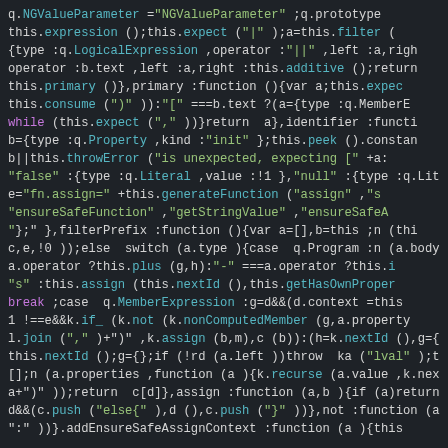[Figure (screenshot): Syntax-highlighted JavaScript/minified source code on a dark background (#1e2227). Multiple colors used: cyan for method calls, yellow for string literals, green for string values, purple for keywords, red/orange for identifiers, white/grey for punctuation and regular tokens.]